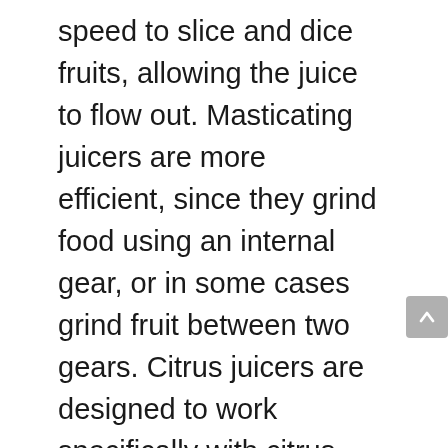speed to slice and dice fruits, allowing the juice to flow out. Masticating juicers are more efficient, since they grind food using an internal gear, or in some cases grind fruit between two gears. Citrus juicers are designed to work specifically with citrus fruits, like oranges, and function very differently than other fruit juicers. Citrus juicers have a mechanical reamer that spins into the fruit, removing the pulpy interior and releasing the juice.
Centrifugal and masticating juicers each have pros and cons. The problem with centrifugal